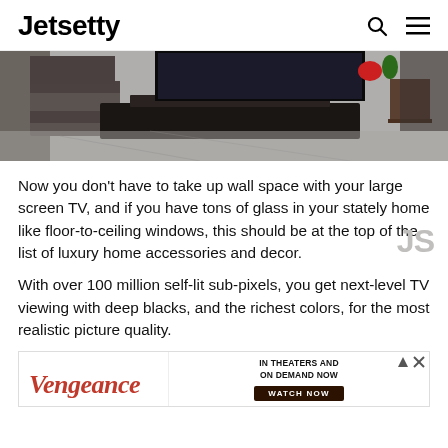Jetsetty
[Figure (photo): Interior room photo showing a modern living space with a large flat TV on a low modern stand, reflective floor, and shelving units.]
Now you don't have to take up wall space with your large screen TV, and if you have tons of glass in your stately home like floor-to-ceiling windows, this should be at the top of the list of luxury home accessories and decor.
With over 100 million self-lit sub-pixels, you get next-level TV viewing with deep blacks, and the richest colors, for the most realistic picture quality.
[Figure (other): Vengeance movie advertisement banner: 'IN THEATERS AND ON DEMAND NOW — WATCH NOW']